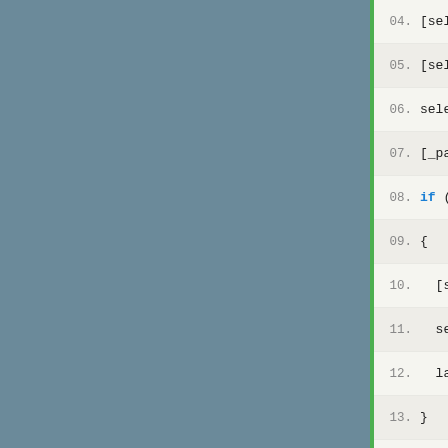[Figure (screenshot): Source code editor showing Objective-C code lines 04 through 19, with line numbers, alternating row backgrounds, a green vertical bar on the left, and a blue-grey sidebar. Keywords 'if', 'else if' are highlighted in blue, and numeric literals '-1' are in red.]